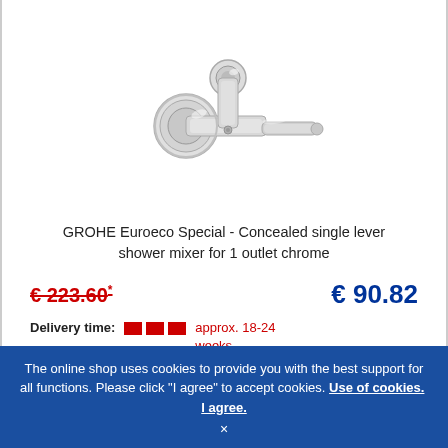[Figure (photo): Chrome concealed single lever shower mixer faucet on white background]
GROHE Euroeco Special - Concealed single lever shower mixer for 1 outlet chrome
€ 223.60* € 90.82
Delivery time: approx. 18-24 weeks
Article no.: 32780000
The online shop uses cookies to provide you with the best support for all functions. Please click "I agree" to accept cookies. Use of cookies. I agree. ×